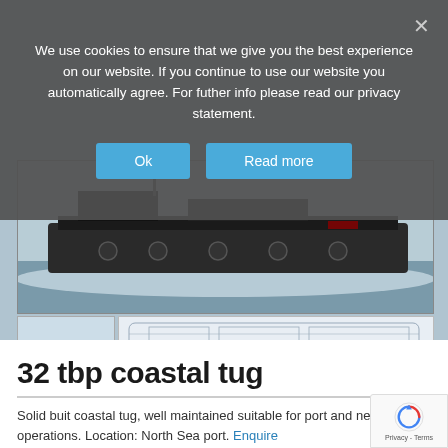We use cookies to ensure that we give you the best experience on our website. If you continue to use our website you automatically agree. For futher info please read our privacy statement.
[Figure (screenshot): Cookie consent dialog with 'Ok' and 'Read more' blue buttons on grey overlay]
[Figure (photo): Large dark tugboat/barge moving through water at speed, viewed from a distance]
[Figure (photo): Small coastal tug boat with orange hull and white superstructure]
[Figure (engineering-diagram): Blueprint/technical line drawing of a coastal tug vessel, showing plan and elevation views]
32 tbp coastal tug
Solid buit coastal tug, well maintained suitable for port and ne... coastal operations. Location: North Sea port. Enquire